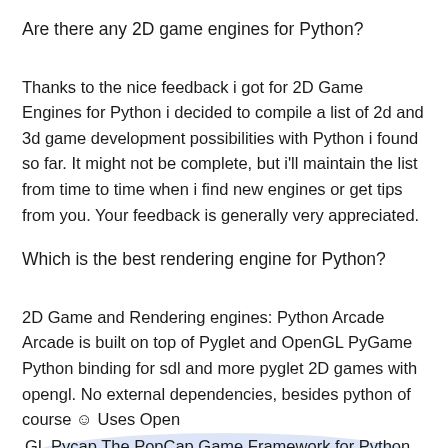Are there any 2D game engines for Python?
Thanks to the nice feedback i got for 2D Game Engines for Python i decided to compile a list of 2d and 3d game development possibilities with Python i found so far. It might not be complete, but i'll maintain the list from time to time when i find new engines or get tips from you. Your feedback is generally very appreciated.
Which is the best rendering engine for Python?
2D Game and Rendering engines: Python Arcade Arcade is built on top of Pyglet and OpenGL PyGame Python binding for sdl and more pyglet 2D games with opengl. No external dependencies, besides python of course ☺ Uses OpenGL Pycap The PopCap Game Framework for Python SpriteCraft Small game engine with python bindings